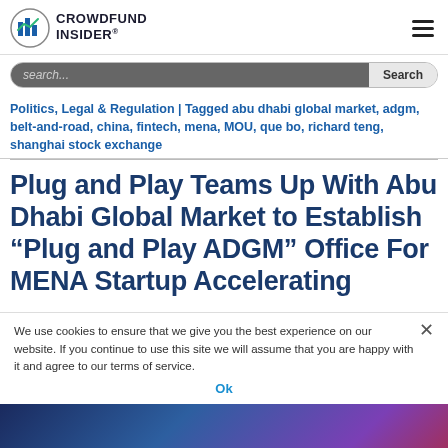CROWDFUND INSIDER
search...
Politics, Legal & Regulation | Tagged abu dhabi global market, adgm, belt-and-road, china, fintech, mena, MOU, que bo, richard teng, shanghai stock exchange
Plug and Play Teams Up With Abu Dhabi Global Market to Establish “Plug and Play ADGM” Office For MENA Startup Accelerating
We use cookies to ensure that we give you the best experience on our website. If you continue to use this site we will assume that you are happy with it and agree to our terms of service.
Ok
[Figure (photo): Bottom image strip showing a dark purple/blue gradient background, partially visible]